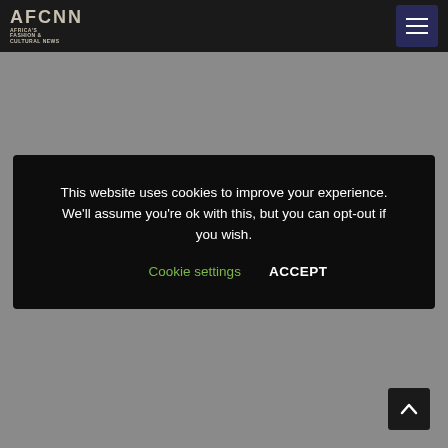AFCNN AFRICA'S FASHION & CULTURAL NEWS
This website uses cookies to improve your experience. We'll assume you're ok with this, but you can opt-out if you wish. Cookie settings ACCEPT